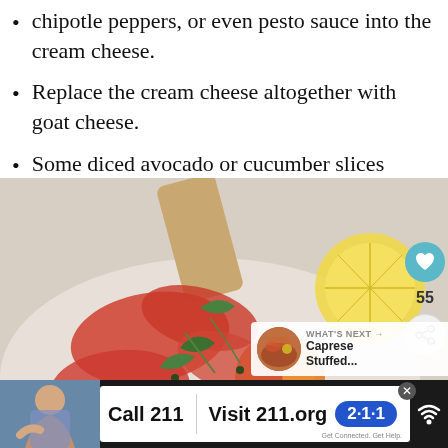chipotle peppers, or even pesto sauce into the cream cheese.
Replace the cream cheese altogether with goat cheese.
Some diced avocado or cucumber slices would go great here.
[Figure (photo): A flatbread or toast topped with smoked salmon, capers, arugula, sliced tomatoes, herbs, and a slice of lemon, served on a white plate with a spatula.]
55
WHAT'S NEXT → Caprese Stuffed...
Call 211 | Visit 211.org 2·1·1